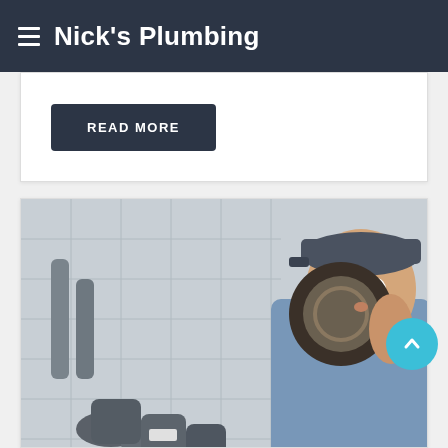Nick's Plumbing
READ MORE
[Figure (photo): Plumber in a denim shirt and cap looking through a round pipe fitting, with gray PVC pipes and fittings visible on a tiled wall background.]
Water Line Repair